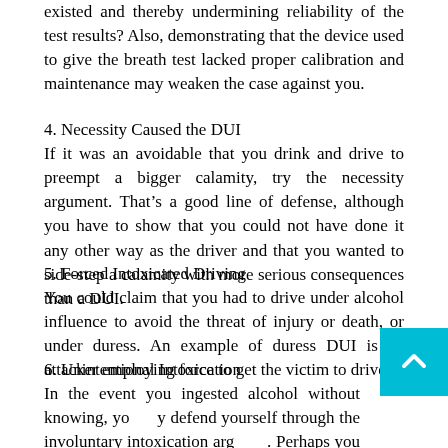existed and thereby undermining reliability of the test results? Also, demonstrating that the device used to give the breath test lacked proper calibration and maintenance may weaken the case against you.
4. Necessity Caused the DUI
If it was an avoidable that you drink and drive to preempt a bigger calamity, try the necessity argument. That’s a good line of defense, although you have to show that you could not have done it any other way as the driver and that you wanted to side-step a calamity with more serious consequences than a DUI.
5. Forced Intoxicated Driving
You could claim that you had to drive under alcohol influence to avoid the threat of injury or death, or under duress. An example of duress DUI is an attacker employing force to get the victim to drive.
6. Unintentional Intoxication
In the event you ingested alcohol without knowing, you can defend yourself through the involuntary intoxication argument. Perhaps you believe that you were offered a drink that